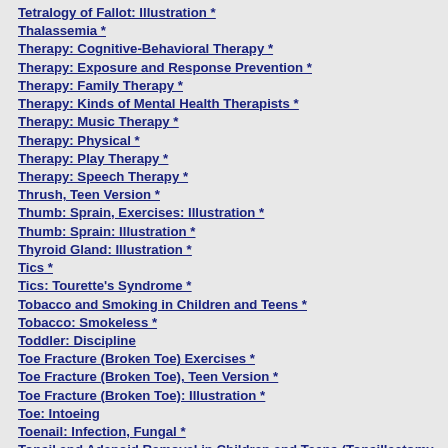Tetralogy of Fallot: Illustration *
Thalassemia *
Therapy: Cognitive-Behavioral Therapy *
Therapy: Exposure and Response Prevention *
Therapy: Family Therapy *
Therapy: Kinds of Mental Health Therapists *
Therapy: Music Therapy *
Therapy: Physical *
Therapy: Play Therapy *
Therapy: Speech Therapy *
Thrush, Teen Version *
Thumb: Sprain, Exercises: Illustration *
Thumb: Sprain: Illustration *
Thyroid Gland: Illustration *
Tics *
Tics: Tourette's Syndrome *
Tobacco and Smoking in Children and Teens *
Tobacco: Smokeless *
Toddler: Discipline
Toe Fracture (Broken Toe) Exercises *
Toe Fracture (Broken Toe), Teen Version *
Toe Fracture (Broken Toe): Illustration *
Toe: Intoeing
Toenail: Infection, Fungal *
Tonsil and Adenoid Removal in Children and Teens (Tonsillectomy
Tonsil and Adenoid Surgery Admission Information and Discharge
Tonsils and Adenoids: Illustration *